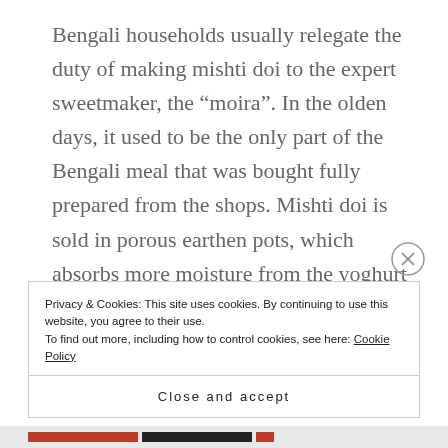Bengali households usually relegate the duty of making mishti doi to the expert sweetmaker, the “moira”. In the olden days, it used to be the only part of the Bengali meal that was bought fully prepared from the shops. Mishti doi is sold in porous earthen pots, which absorbs more moisture from the yoghurt making it thicker and creamier. A good mishti doi, rich and luscious, will give any crème caramel a run for its money.
Privacy & Cookies: This site uses cookies. By continuing to use this website, you agree to their use.
To find out more, including how to control cookies, see here: Cookie Policy
Close and accept